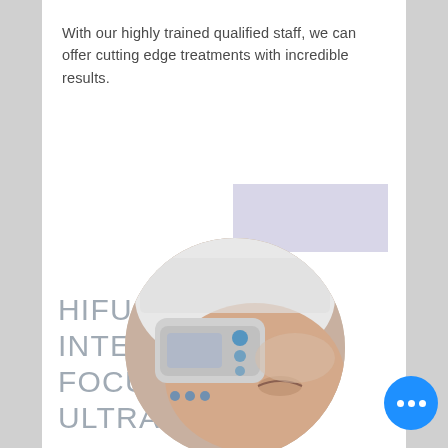With our highly trained qualified staff, we can offer cutting edge treatments with incredible results.
[Figure (illustration): Lavender/purple placeholder rectangle in upper right area of top section]
HIFU (HIGH INTENSITY FOCUSED ULTRASOUND)
[Figure (photo): Circular cropped photo showing a person receiving HIFU treatment with a handheld ultrasound device being applied to their face, with a towel on their head]